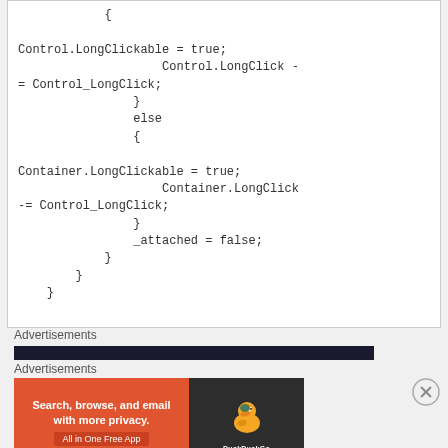{

Control.LongClickable = true;
                    Control.LongClick -
= Control_LongClick;
                }
                else
                {

Container.LongClickable = true;
                    Container.LongClick
-= Control_LongClick;
                }
                _attached = false;
            }
        }
    }
Advertisements
Advertisements
[Figure (infographic): DuckDuckGo advertisement banner: orange left panel with 'Search, browse, and email with more privacy. All in One Free App' and dark right panel with DuckDuckGo logo]